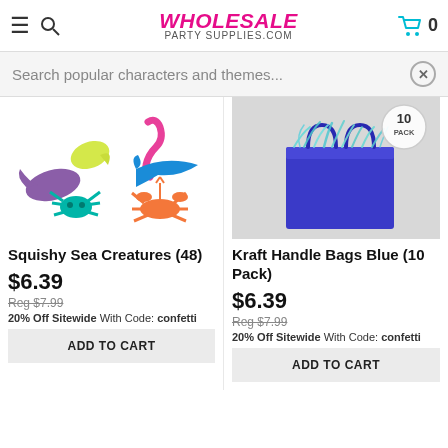WHOLESALE PARTY SUPPLIES.COM
Search popular characters and themes...
[Figure (photo): Colorful squishy sea creature toys including purple whale, yellow fish, pink seahorse, blue dolphin, teal crab, and orange lobster]
Squishy Sea Creatures (48)
$6.39
Reg $7.99
20% Off Sitewide With Code: confetti
ADD TO CART
[Figure (photo): Blue kraft handle gift bag with blue paper shred filling, 10 pack badge in top right corner]
Kraft Handle Bags Blue (10 Pack)
$6.39
Reg $7.99
20% Off Sitewide With Code: confetti
ADD TO CART